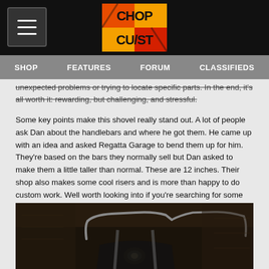ChopCult — SHOP | FEATURES | FORUM | CLASSIFIEDS
unexpected problems or trying to locate specific parts. In the end, it's all worth it: rewarding, but challenging, and stressful.
Some key points make this shovel really stand out. A lot of people ask Dan about the handlebars and where he got them. He came up with an idea and asked Regatta Garage to bend them up for him. They're based on the bars they normally sell but Dan asked to make them a little taller than normal. These are 12 inches. Their shop also makes some cool risers and is more than happy to do custom work. Well worth looking into if you're searching for some rad bars.
[Figure (photo): Motorcycle handlebar photo, dark moody environment showing custom tall handlebars on a chopper motorcycle]